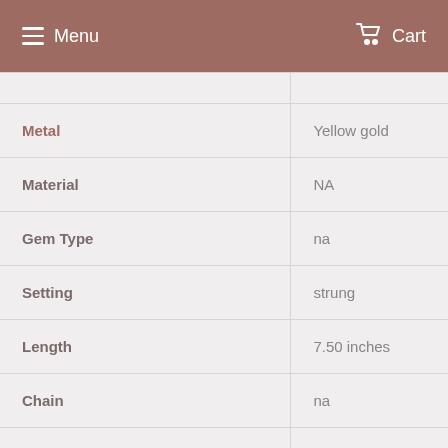Menu  Cart
| Property | Value |
| --- | --- |
| Metal | Yellow gold |
| Material | NA |
| Gem Type | na |
| Setting | strung |
| Length | 7.50 inches |
| Chain | na |
| Clasp | Single strand fishhook |